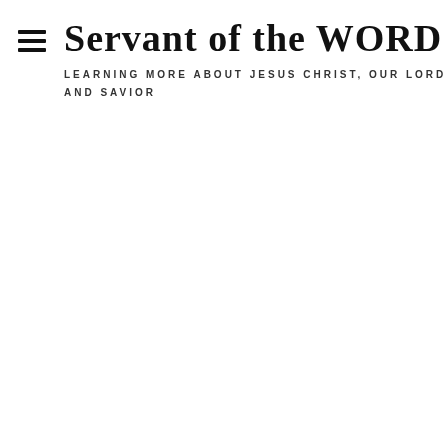Servant of the WORD
LEARNING MORE ABOUT JESUS CHRIST, OUR LORD AND SAVIOR